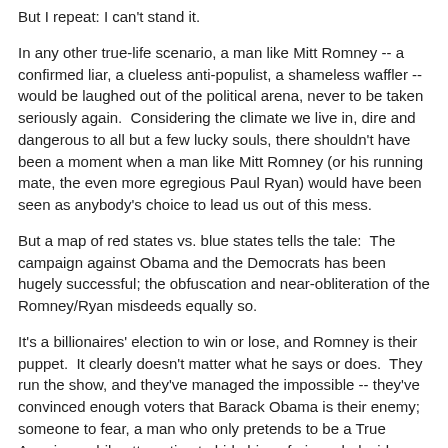But I repeat: I can't stand it.
In any other true-life scenario, a man like Mitt Romney -- a confirmed liar, a clueless anti-populist, a shameless waffler -- would be laughed out of the political arena, never to be taken seriously again.  Considering the climate we live in, dire and dangerous to all but a few lucky souls, there shouldn't have been a moment when a man like Mitt Romney (or his running mate, the even more egregious Paul Ryan) would have been seen as anybody's choice to lead us out of this mess.
But a map of red states vs. blue states tells the tale:  The campaign against Obama and the Democrats has been hugely successful; the obfuscation and near-obliteration of the Romney/Ryan misdeeds equally so.
It's a billionaires' election to win or lose, and Romney is their puppet.  It clearly doesn't matter what he says or does.  They run the show, and they've managed the impossible -- they've convinced enough voters that Barack Obama is their enemy; someone to fear, a man who only pretends to be a True American while attempting to hide his nefarious dark side.